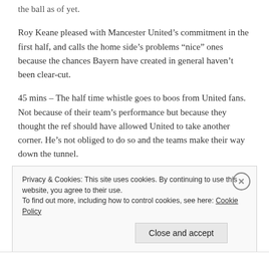the ball as of yet.
Roy Keane pleased with Mancester United’s commitment in the first half, and calls the home side’s problems “nice” ones because the chances Bayern have created in general haven’t been clear-cut.
45 mins – The half time whistle goes to boos from United fans. Not because of their team’s performance but because they thought the ref should have allowed United to take another corner. He’s not obliged to do so and the teams make their way down the tunnel.
Privacy & Cookies: This site uses cookies. By continuing to use this website, you agree to their use.
To find out more, including how to control cookies, see here: Cookie Policy
Close and accept